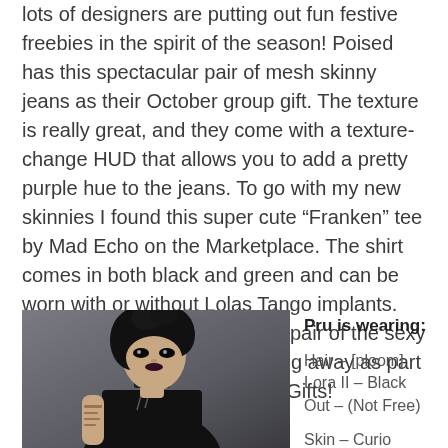lots of designers are putting out fun festive freebies in the spirit of the season! Poised has this spectacular pair of mesh skinny jeans as their October group gift. The texture is really great, and they come with a texture-change HUD that allows you to add a pretty purple hue to the jeans. To go with my new skinnies I found this super cute “Franken” tee by Mad Echo on the Marketplace. The shirt comes in both black and green and can be worn with or without Lolas Tango implants. Last but not least I threw on a pair of the sexy Dusk heels that Plastik is giving away as part of their Halloween VIP Group Gifts!
[Figure (photo): A virtual avatar with black hair, dark makeup, wearing a black Franken tee with stitching details, against a grey background]
Pru is wearing:

Hair – [ploom] Lora II – Black Out – (Not Free)

Skin – Curio